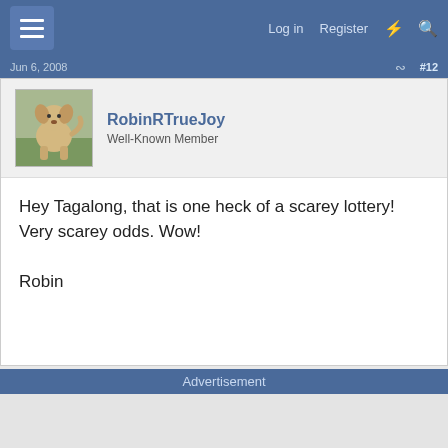Log in  Register
Jun 6, 2008  #12
RobinRTrueJoy
Well-Known Member
Hey Tagalong, that is one heck of a scarey lottery! Very scarey odds. Wow!

Robin
Advertisement
Report Ad